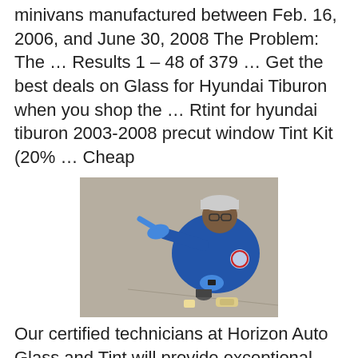11,300 model year 2007-08 Hyundai Entourage minivans manufactured between Feb. 16, 2006, and June 30, 2008 The Problem: The … Results 1 – 48 of 379 … Get the best deals on Glass for Hyundai Tiburon when you shop the … Rtint for hyundai tiburon 2003-2008 precut window Tint Kit (20% … Cheap
[Figure (photo): A technician in a blue uniform and blue gloves kneeling on a concrete floor, pointing at something on the ground. Auto glass tools and supplies are visible nearby.]
Our certified technicians at Horizon Auto Glass and Tint will provide exceptional … for all of your auto glass repair and window tinting needs in the Albuquerque area. … Our exceptional staff has a combined 200 years in the auto glass and